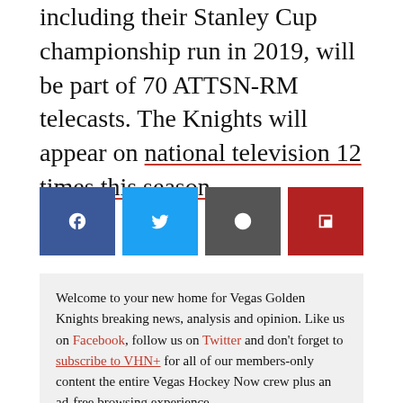including their Stanley Cup championship run in 2019, will be part of 70 ATTSN-RM telecasts. The Knights will appear on national television 12 times this season.
[Figure (infographic): Social media share buttons: Facebook (blue), Twitter (light blue), Reddit (dark gray), Flipboard (red)]
Welcome to your new home for Vegas Golden Knights breaking news, analysis and opinion. Like us on Facebook, follow us on Twitter and don't forget to subscribe to VHN+ for all of our members-only content the entire Vegas Hockey Now crew plus an ad-free browsing experience.